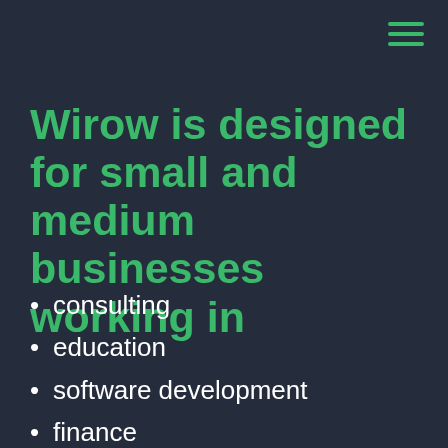[Figure (other): Hamburger menu icon made of three horizontal green lines in the top-right corner]
Wirow is designed for small and medium businesses working in
consulting
education
software development
finance
marketing
accounting
law / legal